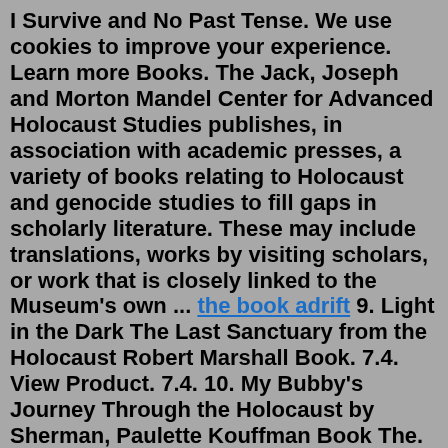I Survive and No Past Tense. We use cookies to improve your experience. Learn more Books. The Jack, Joseph and Morton Mandel Center for Advanced Holocaust Studies publishes, in association with academic presses, a variety of books relating to Holocaust and genocide studies to fill gaps in scholarly literature. These may include translations, works by visiting scholars, or work that is closely linked to the Museum's own ... the book adrift 9. Light in the Dark The Last Sanctuary from the Holocaust Robert Marshall Book. 7.4. View Product. 7.4. 10. My Bubby's Journey Through the Holocaust by Sherman, Paulette Kouffman Book The. 7.1.47 offers from $9.80. #6. Signs of Survival: A Memoir of the Holocaust. Renee Hartman. 283. Hardcover. 50 offers from $9.20. #7. Four Perfect Pebbles: A True Story of the Holocaust.by Karl-Heinz Reuband. Although many people believed after WWII that ordinary citizens couldn't have known about the Holocaust during the war, the fact remains that the discrimination, persecution, and murder of millions of